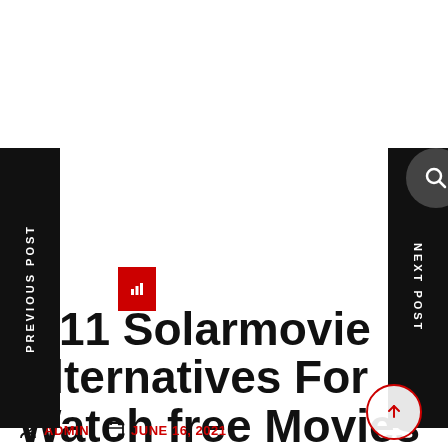PREVIOUS POST
NEXT POST
Top 11 Solarmovie Alternatives For Watch free Movies Online
ADMIN   JUNE 16, 2021